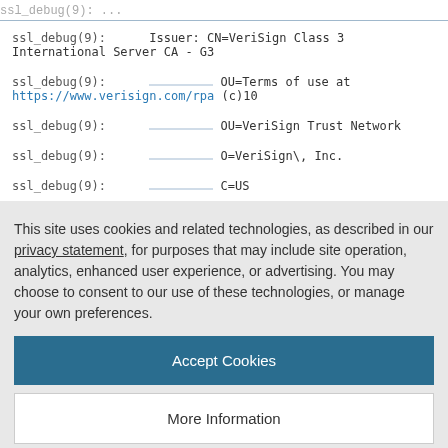ssl_debug(9):   Issuer:  CN=VeriSign Class 3 International Server CA - G3
ssl_debug(9):         OU=Terms of use at https://www.verisign.com/rpa (c)10
ssl_debug(9):         OU=VeriSign Trust Network
ssl_debug(9):         O=VeriSign\, Inc.
ssl_debug(9):         C=US
This site uses cookies and related technologies, as described in our privacy statement, for purposes that may include site operation, analytics, enhanced user experience, or advertising. You may choose to consent to our use of these technologies, or manage your own preferences.
Accept Cookies
More Information
Privacy Policy | Powered by: TrustArc
ssl_debug(9):         O=Elemisa